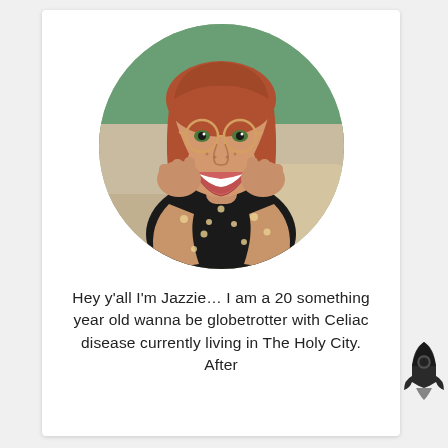[Figure (photo): Circular cropped photo of a young woman with red hair and round glasses, smiling broadly with hands on cheeks, wearing a black floral top.]
Hey y'all I'm Jazzie… I am a 20 something year old wanna be globetrotter with Celiac disease currently living in The Holy City.  After